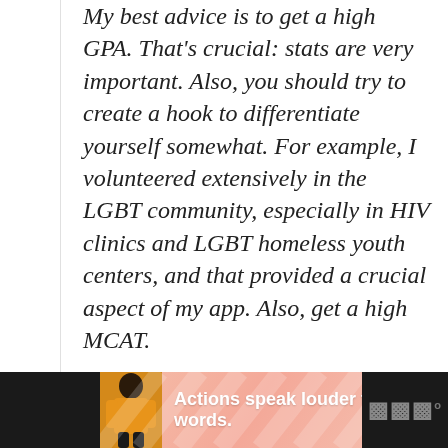My best advice is to get a high GPA. That's crucial: stats are very important. Also, you should try to create a hook to differentiate yourself somewhat. For example, I volunteered extensively in the LGBT community, especially in HIV clinics and LGBT homeless youth centers, and that provided a crucial aspect of my app. Also, get a high MCAT.
[Figure (screenshot): Advertisement banner with dark background, a figure of a person in yellow jacket, pink/coral diagonal stripe background, white bold text 'Actions speak louder than words.' and a close button]